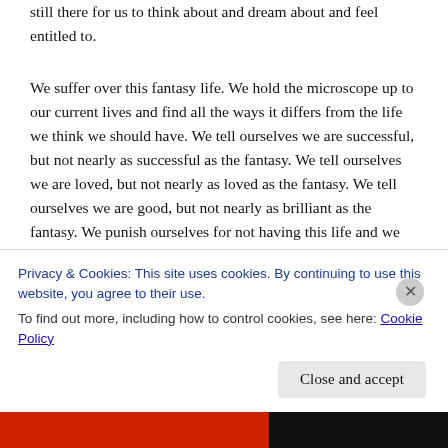still there for us to think about and dream about and feel entitled to.
We suffer over this fantasy life. We hold the microscope up to our current lives and find all the ways it differs from the life we think we should have. We tell ourselves we are successful, but not nearly as successful as the fantasy. We tell ourselves we are loved, but not nearly as loved as the fantasy. We tell ourselves we are good, but not nearly as brilliant as the fantasy. We punish ourselves for not having this life and we convince ourselves that the tighter we hold onto this vision of who we should
Privacy & Cookies: This site uses cookies. By continuing to use this website, you agree to their use.
To find out more, including how to control cookies, see here: Cookie Policy